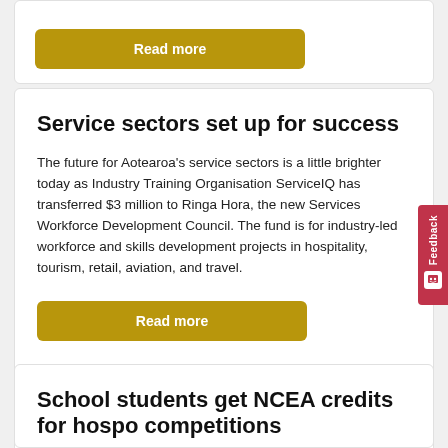Read more
Service sectors set up for success
The future for Aotearoa's service sectors is a little brighter today as Industry Training Organisation ServiceIQ has transferred $3 million to Ringa Hora, the new Services Workforce Development Council. The fund is for industry-led workforce and skills development projects in hospitality, tourism, retail, aviation, and travel.
Read more
School students get NCEA credits for hospo competitions